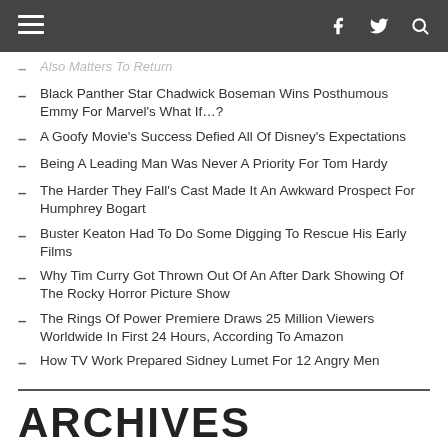Navigation bar with menu, facebook, twitter, search icons
Black Panther Star Chadwick Boseman Wins Posthumous Emmy For Marvel's What If…?
A Goofy Movie's Success Defied All Of Disney's Expectations
Being A Leading Man Was Never A Priority For Tom Hardy
The Harder They Fall's Cast Made It An Awkward Prospect For Humphrey Bogart
Buster Keaton Had To Do Some Digging To Rescue His Early Films
Why Tim Curry Got Thrown Out Of An After Dark Showing Of The Rocky Horror Picture Show
The Rings Of Power Premiere Draws 25 Million Viewers Worldwide In First 24 Hours, According To Amazon
How TV Work Prepared Sidney Lumet For 12 Angry Men
ARCHIVES